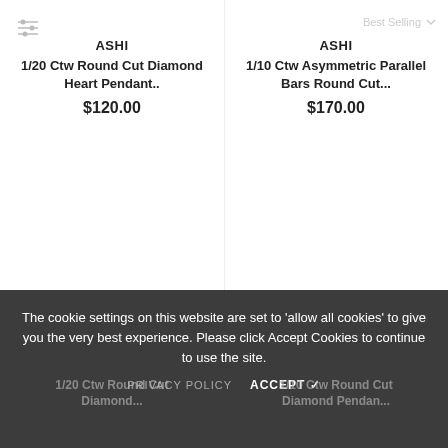ASHI
1/20 Ctw Round Cut Diamond Heart Pendant..
$120.00
ASHI
Best Selling
1/10 Ctw Asymmetric Parallel Bars Round Cut...
$170.00
The cookie settings on this website are set to 'allow all cookies' to give you the very best experience. Please click Accept Cookies to continue to use the site.
PRIVACY POLICY
ACCEPT ✓
1/20 Ctw Round Cut Diamond...
1/10 Ctw Round Cut Diamond Pendan...
$170.00
$170.00